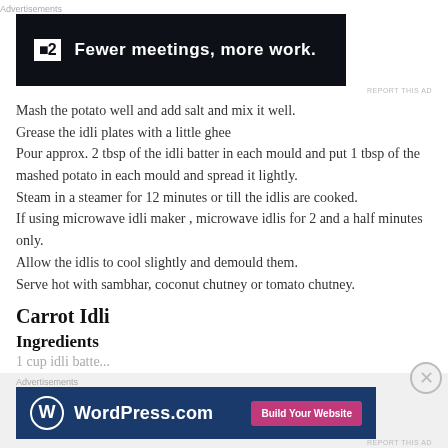[Figure (other): Advertisement banner: dark background with 'F2 Fewer meetings, more work.' logo and text]
Mash the potato well and add salt and mix it well.
Grease the idli plates with a little ghee
Pour approx. 2 tbsp of the idli batter in each mould and put 1 tbsp of the mashed potato in each mould and spread it lightly.
Steam in a steamer for 12 minutes or till the idlis are cooked.
If using microwave idli maker , microwave idlis for 2 and a half minutes only.
Allow the idlis to cool slightly and demould them.
Serve hot with sambhar, coconut chutney or tomato chutney.
Carrot Idli
Ingredients
[Figure (other): Advertisement banner: WordPress.com with 'Build Your Website' button]